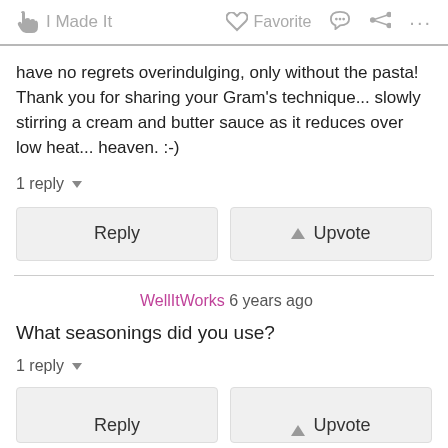I Made It   Favorite   ...
have no regrets overindulging, only without the pasta! Thank you for sharing your Gram's technique... slowly stirring a cream and butter sauce as it reduces over low heat... heaven. :-)
1 reply
Reply   Upvote
WellItWorks 6 years ago
What seasonings did you use?
1 reply
Reply   Upvote